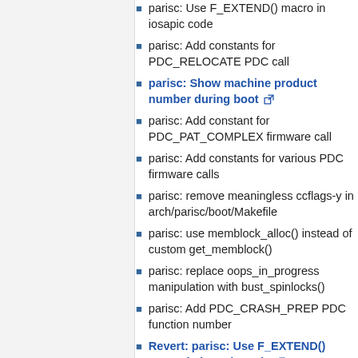parisc: Use F_EXTEND() macro in iosapic code
parisc: Add constants for PDC_RELOCATE PDC call
parisc: Show machine product number during boot [link]
parisc: Add constant for PDC_PAT_COMPLEX firmware call
parisc: Add constants for various PDC firmware calls
parisc: remove meaningless ccflags-y in arch/parisc/boot/Makefile
parisc: use memblock_alloc() instead of custom get_memblock()
parisc: replace oops_in_progress manipulation with bust_spinlocks()
parisc: Add PDC_CRASH_PREP PDC function number
Revert: parisc: Use F_EXTEND() macro in iosapic code [link]
parisc: Detect QEMU earlier in boot process [link] (backported to v4.9+)
parisc: use_return_value() should...